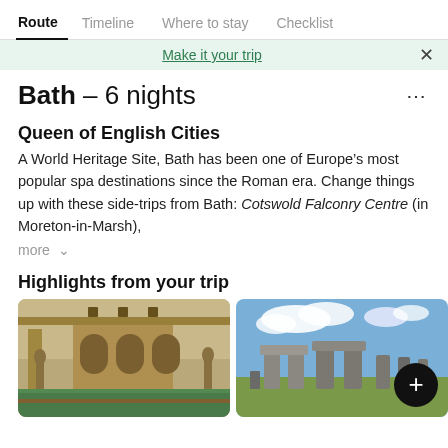Route | Timeline | Where to stay | Checklist
Make it your trip
Bath – 6 nights
Queen of English Cities
A World Heritage Site, Bath has been one of Europe's most popular spa destinations since the Roman era. Change things up with these side-trips from Bath: Cotswold Falconry Centre (in Moreton-in-Marsh),
more ˅
Highlights from your trip
[Figure (photo): Roman Baths, Bath — exterior courtyard with arched colonnade and green water]
[Figure (photo): Stonehenge standing stones against a blue sky with clouds]